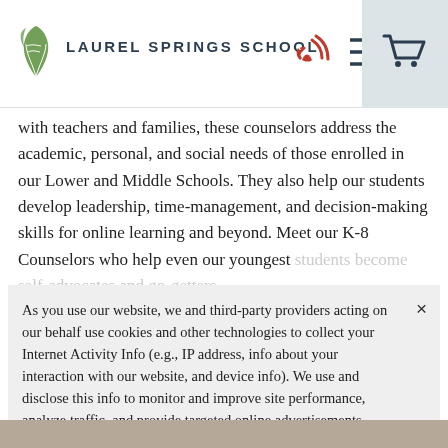LAUREL SPRINGS SCHOOL
with teachers and families, these counselors address the academic, personal, and social needs of those enrolled in our Lower and Middle Schools. They also help our students develop leadership, time-management, and decision-making skills for online learning and beyond. Meet our K-8 Counselors who help even our youngest students become self-advocates and go-getters.
As you use our website, we and third-party providers acting on our behalf use cookies and other technologies to collect your Internet Activity Info (e.g., IP address, info about your interaction with our website, and device info). We use and disclose this info to monitor and improve site performance, analyze traffic, and provide targeted online advertisements. Under CA law, certain sharing may be considered a sale, so you may opt-out of these cookies here. For more information, please review the Privacy and Cookie Notice and Privacy Notice for California Residents.